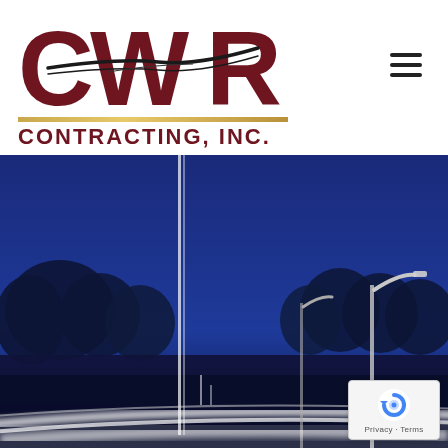[Figure (logo): CWR Contracting, Inc. logo with large dark red letters C, W, R, a road swoosh graphic through the middle, a gold horizontal line, and the text CONTRACTING, INC. below]
[Figure (photo): Night-time highway photo with blue sky, tree silhouettes, road lane markings, and street lights with light trails from passing vehicles]
[Figure (other): reCAPTCHA privacy badge in bottom right corner with blue circular arrow icon and text Privacy - Terms]